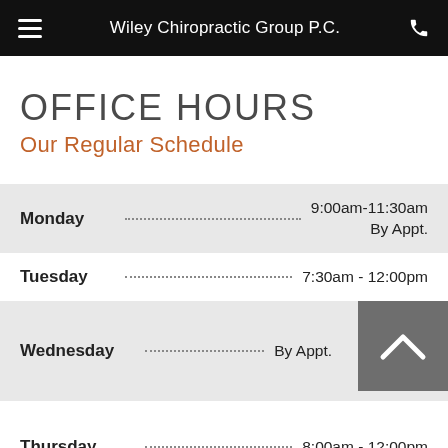Wiley Chiropractic Group P.C.
OFFICE HOURS
Our Regular Schedule
| Day | Hours |
| --- | --- |
| Monday | 9:00am-11:30am
By Appt. |
| Tuesday | 7:30am - 12:00pm |
| Wednesday | By Appt. |
| Thursday | 8:00am - 12:00pm |
| Friday | 9:00am-11:30am |